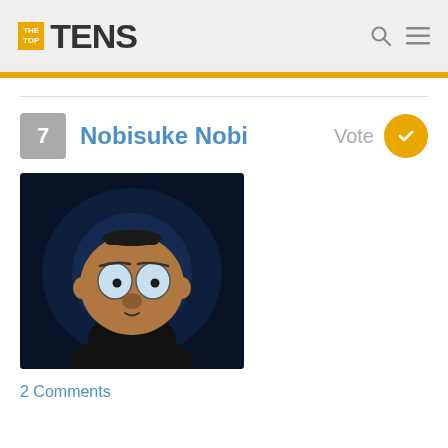THE TOP TENS
7 Nobisuke Nobi
[Figure (illustration): Animated cartoon character Nobisuke Nobi from Doraemon, a chubby man with brown skin, wide round eyes with light blue irises, wearing black clothes, against a dark blue background.]
2 Comments